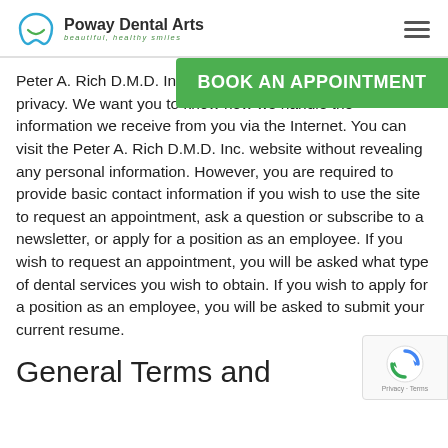Poway Dental Arts — beautiful, healthy smiles
[Figure (logo): Poway Dental Arts logo with tooth/smile icon and tagline 'beautiful, healthy smiles']
Peter A. Rich D.M.D. Inc. is committed to your online privacy. We want you to know how we handle the information we receive from you via the Internet. You can visit the Peter A. Rich D.M.D. Inc. website without revealing any personal information. However, you are required to provide basic contact information if you wish to use the site to request an appointment, ask a question or subscribe to a newsletter, or apply for a position as an employee. If you wish to request an appointment, you will be asked what type of dental services you wish to obtain. If you wish to apply for a position as an employee, you will be asked to submit your current resume.
General Terms and